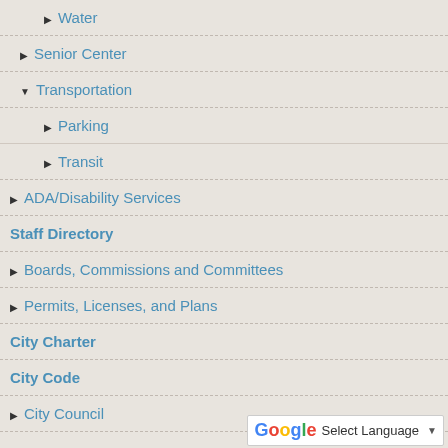▶ Water
▶ Senior Center
▼ Transportation
▶ Parking
▶ Transit
▶ ADA/Disability Services
Staff Directory
▶ Boards, Commissions and Committees
▶ Permits, Licenses, and Plans
City Charter
City Code
▶ City Council